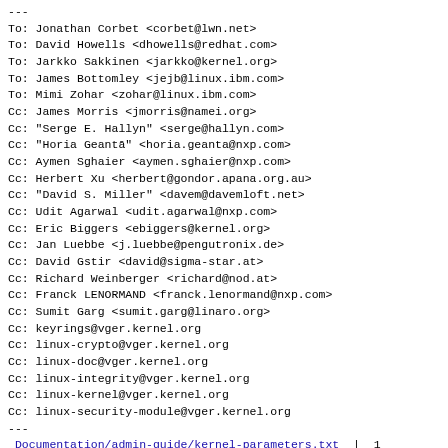---
To: Jonathan Corbet <corbet@lwn.net>
To: David Howells <dhowells@redhat.com>
To: Jarkko Sakkinen <jarkko@kernel.org>
To: James Bottomley <jejb@linux.ibm.com>
To: Mimi Zohar <zohar@linux.ibm.com>
Cc: James Morris <jmorris@namei.org>
Cc: "Serge E. Hallyn" <serge@hallyn.com>
Cc: "Horia Geantā" <horia.geanta@nxp.com>
Cc: Aymen Sghaier <aymen.sghaier@nxp.com>
Cc: Herbert Xu <herbert@gondor.apana.org.au>
Cc: "David S. Miller" <davem@davemloft.net>
Cc: Udit Agarwal <udit.agarwal@nxp.com>
Cc: Eric Biggers <ebiggers@kernel.org>
Cc: Jan Luebbe <j.luebbe@pengutronix.de>
Cc: David Gstir <david@sigma-star.at>
Cc: Richard Weinberger <richard@nod.at>
Cc: Franck LENORMAND <franck.lenormand@nxp.com>
Cc: Sumit Garg <sumit.garg@linaro.org>
Cc: keyrings@vger.kernel.org
Cc: linux-crypto@vger.kernel.org
Cc: linux-doc@vger.kernel.org
Cc: linux-integrity@vger.kernel.org
Cc: linux-kernel@vger.kernel.org
Cc: linux-security-module@vger.kernel.org
---
 Documentation/admin-guide/kernel-parameters.txt  |  1
+-
 Documentation/security/keys/trusted-encrypted.rst | 42
++++++++++-
Documentation/admin-guide/kernel-parameters.txt  |  1
+-
Documentation/security/keys/trusted-encrypted.rst | 42
++++++++++-